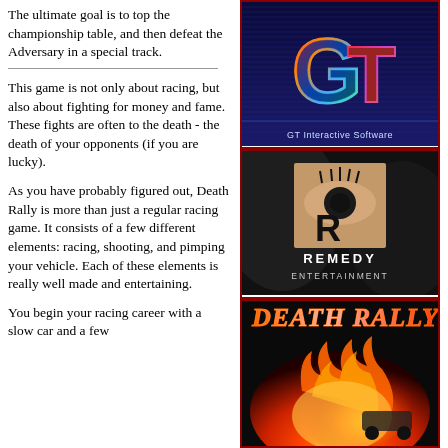The ultimate goal is to top the championship table, and then defeat the Adversary in a special track.
This game is not only about racing, but also about fighting for money and fame. These fights are often to the death - the death of your opponents (if you are lucky).
As you have probably figured out, Death Rally is more than just a regular racing game. It consists of a few different elements: racing, shooting, and pimping your vehicle. Each of these elements is really well made and entertaining.
You begin your racing career with a slow car and a few
[Figure (logo): GT Interactive Software logo on blue striped background with colorful metallic GT letters]
[Figure (logo): Remedy Entertainment logo showing stylized eye with eyelashes above the company name on dark textured background]
[Figure (illustration): Death Rally game title screen showing orange/red fire explosion with racing car]